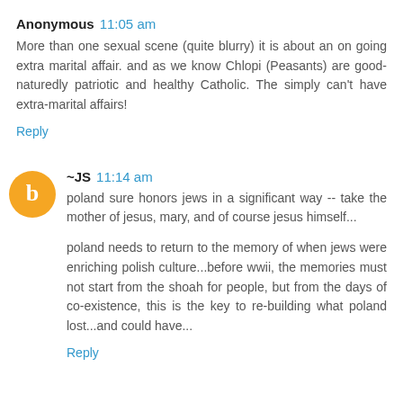Anonymous 11:05 am
More than one sexual scene (quite blurry) it is about an on going extra marital affair. and as we know Chlopi (Peasants) are good-naturedly patriotic and healthy Catholic. The simply can't have extra-marital affairs!
Reply
~JS 11:14 am
poland sure honors jews in a significant way -- take the mother of jesus, mary, and of course jesus himself...
poland needs to return to the memory of when jews were enriching polish culture...before wwii, the memories must not start from the shoah for people, but from the days of co-existence, this is the key to re-building what poland lost...and could have...
Reply